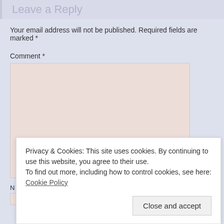Leave a Reply
Your email address will not be published. Required fields are marked *
Comment *
[Figure (screenshot): Comment text area input field with pinkish-rose background color and resize handle in bottom right corner]
Privacy & Cookies: This site uses cookies. By continuing to use this website, you agree to their use. To find out more, including how to control cookies, see here: Cookie Policy
Close and accept